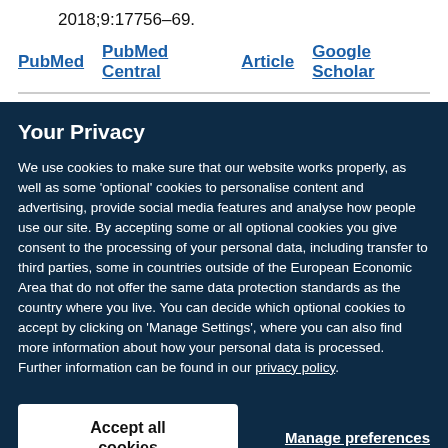2018;9:17756–69.
PubMed  PubMed Central  Article  Google Scholar
Your Privacy
We use cookies to make sure that our website works properly, as well as some 'optional' cookies to personalise content and advertising, provide social media features and analyse how people use our site. By accepting some or all optional cookies you give consent to the processing of your personal data, including transfer to third parties, some in countries outside of the European Economic Area that do not offer the same data protection standards as the country where you live. You can decide which optional cookies to accept by clicking on 'Manage Settings', where you can also find more information about how your personal data is processed. Further information can be found in our privacy policy.
Accept all cookies
Manage preferences